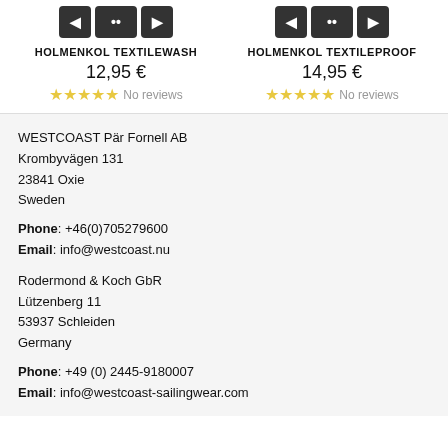HOLMENKOL TEXTILEWASH
12,95 €
No reviews
HOLMENKOL TEXTILEPROOF
14,95 €
No reviews
WESTCOAST Pär Fornell AB
Krombyvägen 131
23841 Oxie
Sweden
Phone: +46(0)705279600
Email: info@westcoast.nu
Rodermond & Koch GbR
Lützenberg 11
53937 Schleiden
Germany
Phone: +49 (0) 2445-9180007
Email: info@westcoast-sailingwear.com